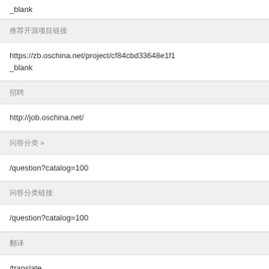_blank
推荐开源项目链接
https://zb.oschina.net/project/cf84cbd33648e1f1
_blank
招聘
http://job.oschina.net/
问答分类 »
/question?catalog=100
问答分类链接
/question?catalog=100
翻译
/translate
开发者 博客链接
https://zb.oschina.net/developer/2757114
_blank